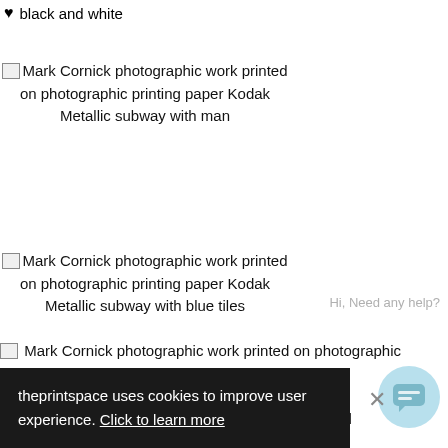black and white
Mark Cornick photographic work printed on photographic printing paper Kodak Metallic subway with man
Mark Cornick photographic work printed on photographic printing paper Kodak Metallic subway with blue tiles
Mark Cornick photographic work printed on photographic printing paper Kodak Metallic building spiral ... particularly interested in staircases, the London underground, subways and
theprintspace uses cookies to improve user experience. Click to learn more